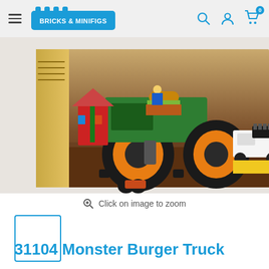Bricks & Minifigs — Navigation bar with hamburger menu, logo, search, account, and cart icons
[Figure (photo): Side view of LEGO 31104 Monster Burger Truck box showing a large monster truck with orange wheels, a carousel, and other LEGO builds on a wooden surface background with gold-and-brown box packaging.]
Click on image to zoom
[Figure (photo): Small blank thumbnail image placeholder with blue border]
31104 Monster Burger Truck